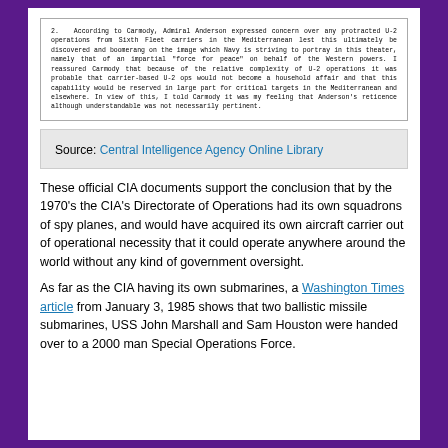[Figure (screenshot): Scanned CIA document excerpt, paragraph 2, discussing Admiral Anderson's concern over U-2 operations from Sixth Fleet carriers in the Mediterranean.]
Source: Central Intelligence Agency Online Library
These official CIA documents support the conclusion that by the 1970's the CIA's Directorate of Operations had its own squadrons of spy planes, and would have acquired its own aircraft carrier out of operational necessity that it could operate anywhere around the world without any kind of government oversight.
As far as the CIA having its own submarines, a Washington Times article from January 3, 1985 shows that two ballistic missile submarines, USS John Marshall and Sam Houston were handed over to a 2000 man Special Operations Force.